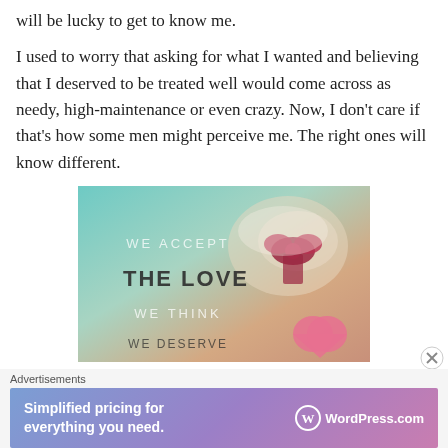will be lucky to get to know me.
I used to worry that asking for what I wanted and believing that I deserved to be treated well would come across as needy, high-maintenance or even crazy. Now, I don't care if that's how some men might perceive me. The right ones will know different.
[Figure (photo): Inspirational quote image with text: WE ACCEPT THE LOVE WE THINK WE DESERVE, overlaid on a blurred photo of a wrapped gift with a red bow and a pink heart figure.]
Advertisements
[Figure (other): WordPress.com advertisement banner: Simplified pricing for everything you need. WordPress.com]